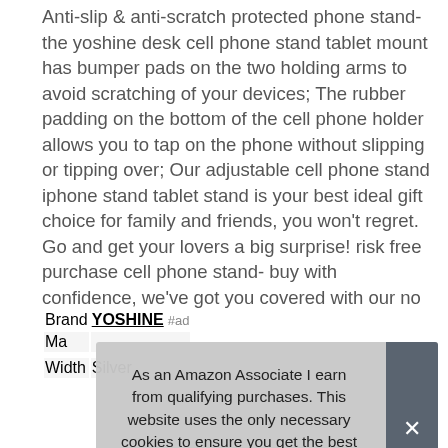Anti-slip & anti-scratch protected phone stand- the yoshine desk cell phone stand tablet mount has bumper pads on the two holding arms to avoid scratching of your devices; The rubber padding on the bottom of the cell phone holder allows you to tap on the phone without slipping or tipping over; Our adjustable cell phone stand iphone stand tablet stand is your best ideal gift choice for family and friends, you won't regret. Go and get your lovers a big surprise! risk free purchase cell phone stand- buy with confidence, we've got you covered with our no risk MONEY BACK GUARANTEE and LIFETIME Manufacturer Warranty.
| Brand | YOSHINE #ad |
| Ma |  |
|  |  |
| Width | Silver |
As an Amazon Associate I earn from qualifying purchases. This website uses the only necessary cookies to ensure you get the best experience on our website. More information